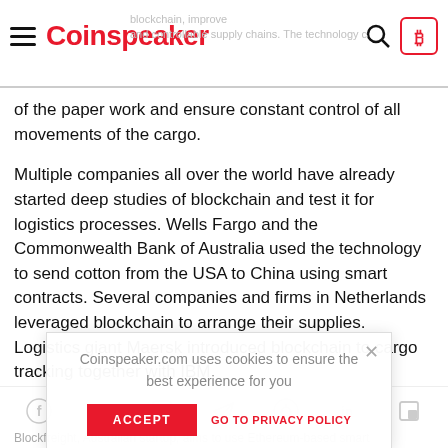Coinspeaker
of the paper work and ensure constant control of all movements of the cargo.
Multiple companies all over the world have already started deep studies of blockchain and test it for logistics processes. Wells Fargo and the Commonwealth Bank of Australia used the technology to send cotton from the USA to China using smart contracts. Several companies and firms in Netherlands leveraged blockchain to arrange their supplies. Logistics giant Maersk introduced blockchain to cargo tracking together with IBM.
Full-scale logistics systems based on blockchain
While the above-mentioned companies address particular parts of the problem, there are full-fledged blockchain-based systems, focusing on the whole industry. Blockfreight and A2B Direct are among the most considerable ones.
Blockfreight, Australian startup, aims to use Ethereum-based smart
Social share icons: Facebook, Twitter, Instagram, Telegram, Reddit, LinkedIn, other